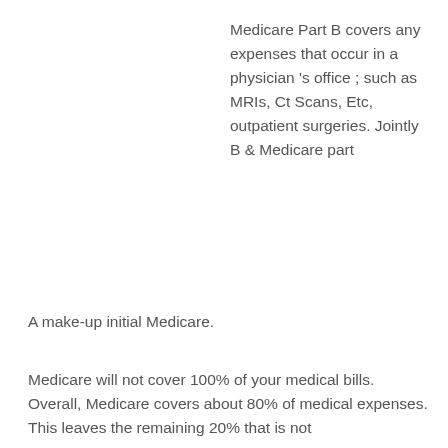Medicare Part B covers any expenses that occur in a physician 's office ; such as MRIs, Ct Scans, Etc, outpatient surgeries. Jointly B & Medicare part A make-up initial Medicare.
Medicare will not cover 100% of your medical bills. Overall, Medicare covers about 80% of medical expenses. This leaves the remaining 20% that is not